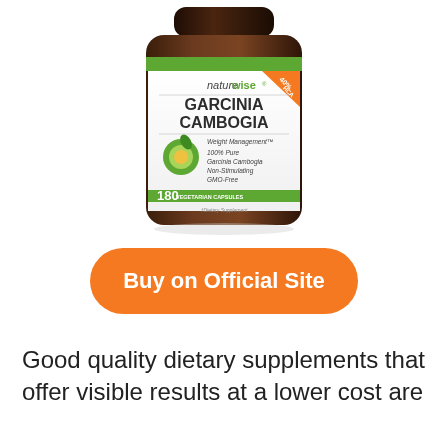[Figure (photo): A brown supplement bottle labeled 'NatureWise Garcinia Cambogia' with a green and white label, showing 180 vegetarian capsules. The label includes text: Weight Management, 100% Pure Garcinia Cambogia, Non-Stimulating, GMO-Free. An orange badge on the upper right reads '40% HCA'. A green garnicia fruit slice is depicted on the label.]
Buy on Official Site
Good quality dietary supplements that offer visible results at a lower cost are